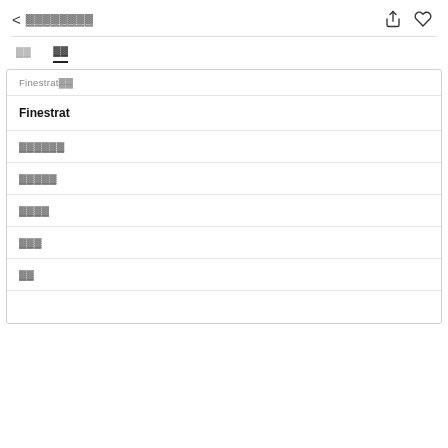< ▓▓▓▓▓▓▓▓
▓▓  ▓▓
Finestrat▓▓
Finestrat
▓▓▓▓▓▓
▓▓▓▓▓
▓▓▓▓
▓▓▓
▓▓